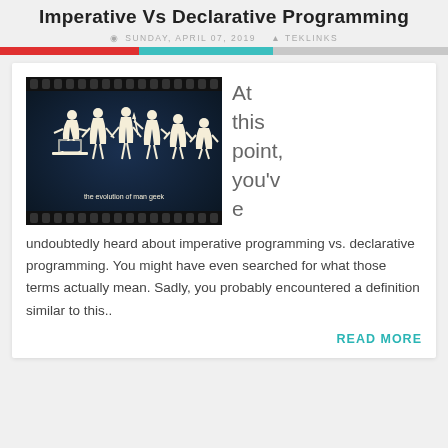Imperative Vs Declarative Programming
SUNDAY, APRIL 07, 2019  TEKLINKS
[Figure (illustration): Film strip style image showing silhouettes depicting the evolution of man into a computer geek, dark blue background, with text 'the evolution of man geek' beneath the figures.]
At this point, you've undoubtedly heard about imperative programming vs. declarative programming. You might have even searched for what those terms actually mean. Sadly, you probably encountered a definition similar to this..
READ MORE